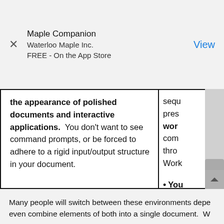Maple Companion
Waterloo Maple Inc.
FREE - On the App Store
View
the appearance of polished documents and interactive applications. You don't want to see command prompts, or be forced to adhere to a rigid input/output structure in your document.
sequ pres wor com thro Work
You to de Docu mod Once to a your
Many people will switch between these environments depe even combine elements of both into a single document. W